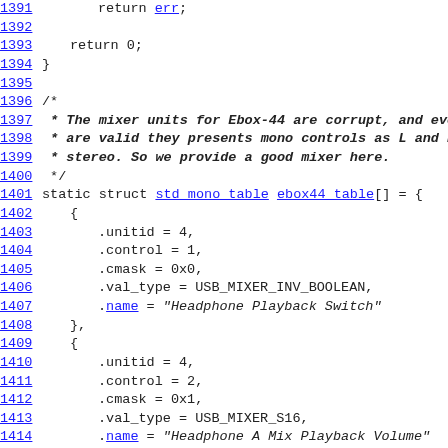Source code listing, lines 1391-1415, showing C code for ebox44_table structure definition with mixer unit configuration.